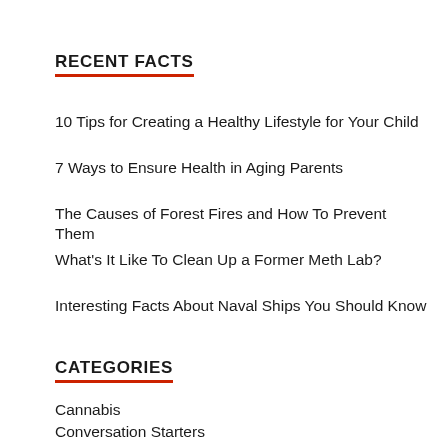RECENT FACTS
10 Tips for Creating a Healthy Lifestyle for Your Child
7 Ways to Ensure Health in Aging Parents
The Causes of Forest Fires and How To Prevent Them
What's It Like To Clean Up a Former Meth Lab?
Interesting Facts About Naval Ships You Should Know
CATEGORIES
Cannabis
Conversation Starters
Definitions